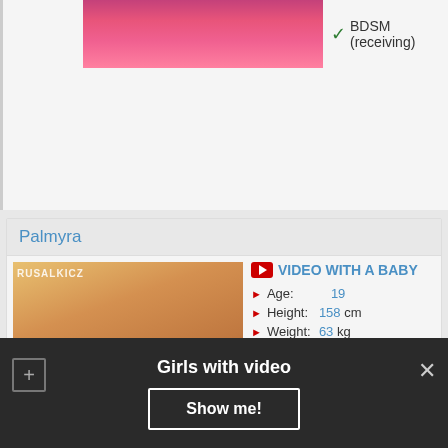BDSM (receiving)
More photo
Palmyra
[Figure (photo): Blonde woman profile photo with watermark RUSALKICZ]
VIDEO WITH A BABY
Age: 19
Height: 158 cm
Weight: 63 kg
Bust: B
1 Hour: 60$
Extreme
Watersports (Giving)
Foot Worship
Cross Dressing
BDSM
Girls with video
Show me!